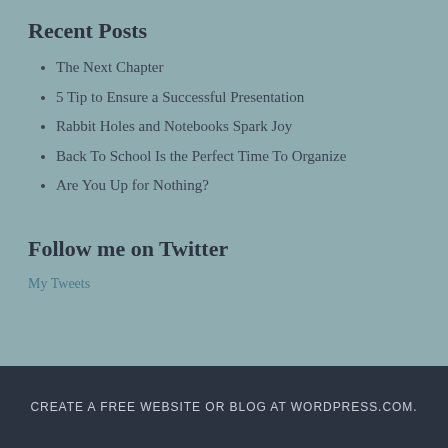Recent Posts
The Next Chapter
5 Tip to Ensure a Successful Presentation
Rabbit Holes and Notebooks Spark Joy
Back To School Is the Perfect Time To Organize
Are You Up for Nothing?
Follow me on Twitter
My Tweets
CREATE A FREE WEBSITE OR BLOG AT WORDPRESS.COM.